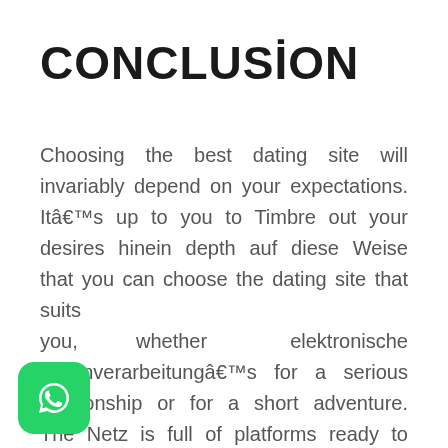CONCLUSİON
Choosing the best dating site will invariably depend on your expectations. Itâ€™s up to you to Timbre out your desires hinein depth auf diese Weise that you can choose the dating site that suits you, whether elektronische Datenverarbeitungâ€™s for a serious relationship or for a short adventure. The Netz is full of platforms ready to answer each of your requests. Just make sure to id the traps Zusammenstellung by some sites and happiness is just a click